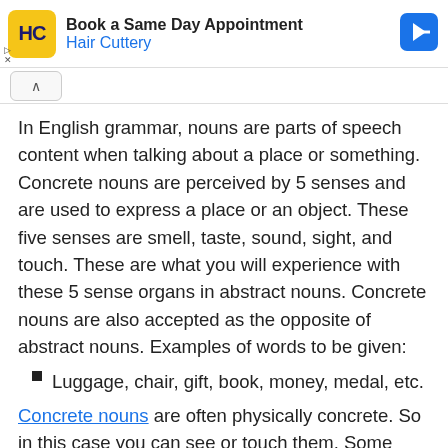[Figure (other): Hair Cuttery advertisement banner with logo showing 'HC' on yellow background, 'Book a Same Day Appointment' title, 'Hair Cuttery' subtitle in blue, and a blue arrow navigation icon on the right.]
In English grammar, nouns are parts of speech content when talking about a place or something. Concrete nouns are perceived by 5 senses and are used to express a place or an object. These five senses are smell, taste, sound, sight, and touch. These are what you will experience with these 5 sense organs in abstract nouns. Concrete nouns are also accepted as the opposite of abstract nouns. Examples of words to be given:
Luggage, chair, gift, book, money, medal, etc.
Concrete nouns are often physically concrete. So in this case you can see or touch them. Some concrete names cannot be seen, touched, but heard. For example: